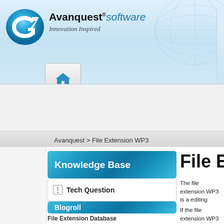[Figure (logo): Avanquest Software logo with blue circular icon and tagline 'Innovation Inspired']
[Figure (illustration): Home button icon (house symbol in a rounded rectangle button)]
Avanquest > File Extension WP3
Knowledge Base
⊕ Tech Question
Blogroll
File Extension Database
File Exte...
The file extension WP3 is a... editing software application... storyline, narrations, and m... them in a variety of differen...
If the file extension WP3 is... narrations, and other com... slideshow project that has...
WP3 files that are associat... elements created with the... to manage and keep on th...
How to Open WP...